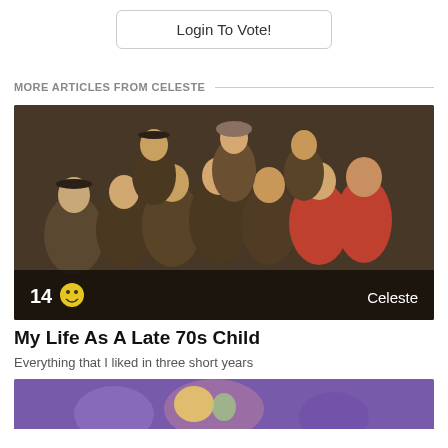Login To Vote!
MORE ARTICLES FROM CELESTE
[Figure (photo): Group photo of actors from MASH TV show in military fatigues, with overlay showing '14 😊' and 'Celeste']
My Life As A Late 70s Child
Everything that I liked in three short years
[Figure (photo): Partial view of another article card with purple/colorful background at bottom of page]